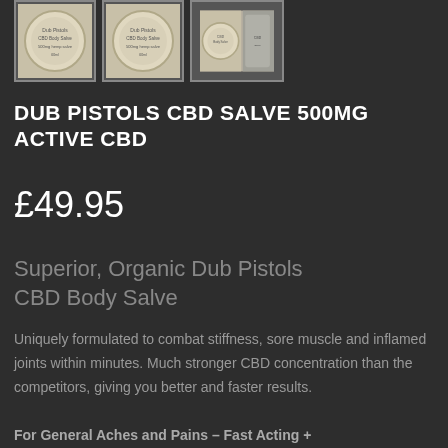[Figure (photo): Three thumbnail images of CBD Body Salve product tins arranged horizontally]
DUB PISTOLS CBD SALVE 500MG ACTIVE CBD
£49.95
Superior, Organic Dub Pistols CBD Body Salve
Uniquely formulated to combat stiffness, sore muscle and inflamed joints within minutes. Much stronger CBD concentration than the competitors, giving you better and faster results.
For General Aches and Pains – Fast Acting +